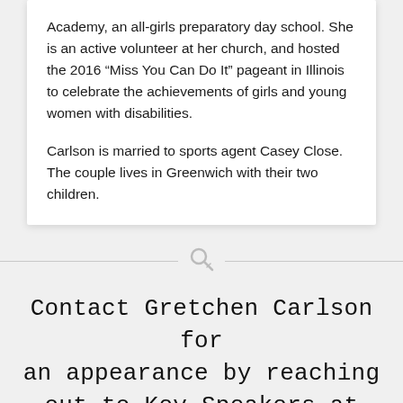Academy, an all-girls preparatory day school. She is an active volunteer at her church, and hosted the 2016 “Miss You Can Do It” pageant in Illinois to celebrate the achievements of girls and young women with disabilities.
Carlson is married to sports agent Casey Close. The couple lives in Greenwich with their two children.
[Figure (other): Search/magnifying glass icon acting as a section divider between two content areas]
Contact Gretchen Carlson for an appearance by reaching out to Key Speakers at (949) 675-7866, or by leaving an